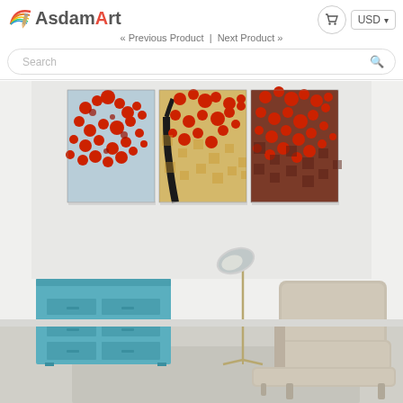[Figure (logo): AsdamArt logo with colorful rainbow arc and pencil icon]
« Previous Product  |  Next Product »
Search
[Figure (photo): Product listing photo showing three-panel abstract tree painting with red blossoms displayed above a modern living room setting with a teal dresser, floor lamp, and beige lounge chair]